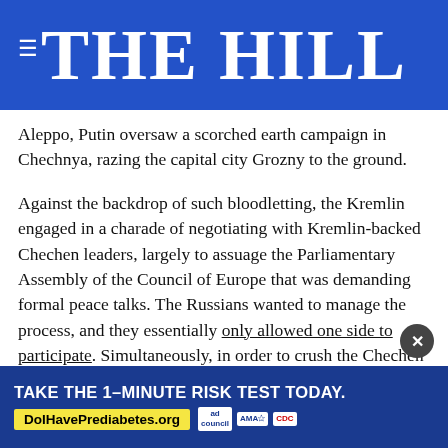THE HILL
Aleppo, Putin oversaw a scorched earth campaign in Chechnya, razing the capital city Grozny to the ground.
Against the backdrop of such bloodletting, the Kremlin engaged in a charade of negotiating with Kremlin-backed Chechen leaders, largely to assuage the Parliamentary Assembly of the Council of Europe that was demanding formal peace talks. The Russians wanted to manage the process, and they essentially only allowed one side to participate. Simultaneously, in order to crush the Chechen independence struggle, Putin ignored and marginalized moderate and secular Chechen leaders, the legitimate elected
[Figure (infographic): Advertisement banner: TAKE THE 1-MINUTE RISK TEST TODAY. DolHavePrediabetes.org with ad council, AMA, and CDC logos]